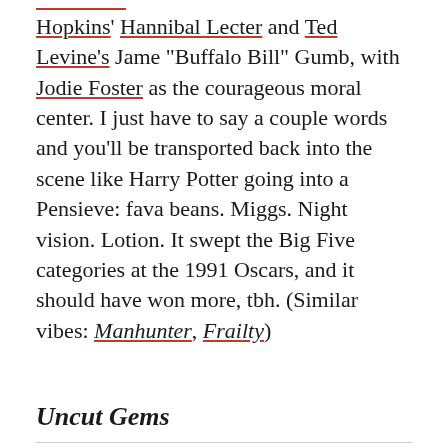Hopkins' Hannibal Lecter and Ted Levine's Jame "Buffalo Bill" Gumb, with Jodie Foster as the courageous moral center. I just have to say a couple words and you'll be transported back into the scene like Harry Potter going into a Pensieve: fava beans. Miggs. Night vision. Lotion. It swept the Big Five categories at the 1991 Oscars, and it should have won more, tbh. (Similar vibes: Manhunter, Frailty)
Uncut Gems
Where to Stream: Netflix